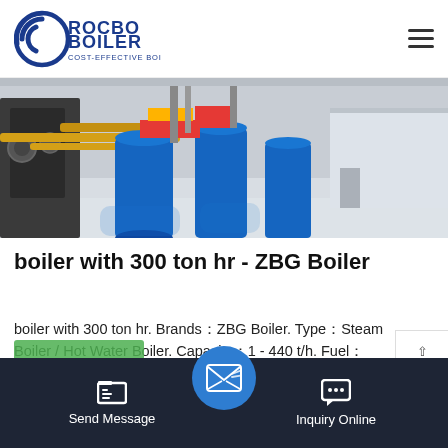[Figure (logo): Rocbo Boiler logo with text 'COST-EFFECTIVE BOILER SUPPLIER']
[Figure (photo): Industrial boiler room with blue cylindrical tanks, yellow pipes, machinery on polished floor]
boiler with 300 ton hr - ZBG Boiler
boiler with 300 ton hr. Brands：ZBG Boiler. Type：Steam Boiler / Hot Water Boiler. Capacity：1 - 440 t/h. Fuel：Gas, Oil, Biomass Fuel, Coal, etc. Application： Food, Beverage, Textile, Paper, Chemical, Central Heating Boiler, Power Generation, etc.
Send Message | Inquiry Online